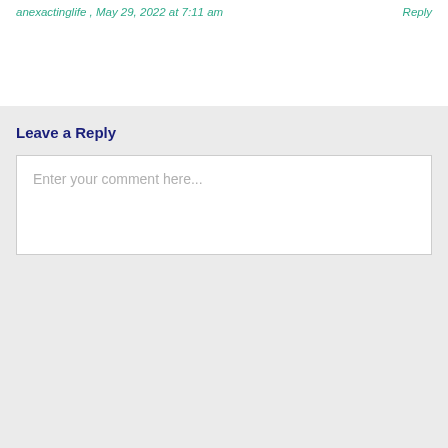anexactinglife , May 29, 2022 at 7:11 am   Reply
Leave a Reply
Enter your comment here...